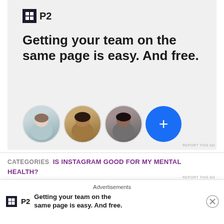[Figure (screenshot): P2 advertisement banner with logo, headline 'Getting your team on the same page is easy. And free.' and three person avatars plus a blue plus button]
REPORT THIS AD
CATEGORIES  IS INSTAGRAM GOOD FOR MY MENTAL HEALTH?
TAGS  ABOUT ME, ANXIETY, BLOG, CONFIDENCE, DEPRESSION, FAMILY, FATHER, INSTAGRAM, INTROVERT, INTROVERTED, LIFESTYLE, MENS HEALTH, MENSHEALTH
Advertisements
[Figure (screenshot): Small P2 ad notification bar with logo and text 'Getting your team on the same page is easy. And free.' with close button]